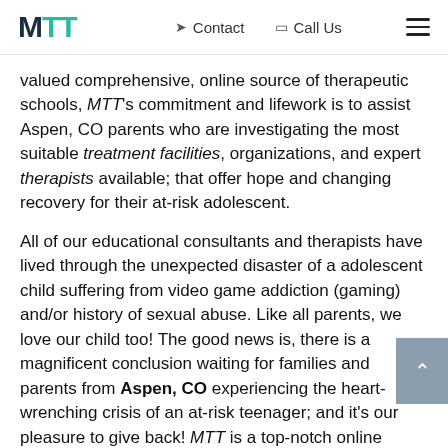MTT | Contact | Call Us
valued comprehensive, online source of therapeutic schools, MTT's commitment and lifework is to assist Aspen, CO parents who are investigating the most suitable treatment facilities, organizations, and expert therapists available; that offer hope and changing recovery for their at-risk adolescent.
All of our educational consultants and therapists have lived through the unexpected disaster of a adolescent child suffering from video game addiction (gaming) and/or history of sexual abuse. Like all parents, we love our child too! The good news is, there is a magnificent conclusion waiting for families and parents from Aspen, CO experiencing the heart-wrenching crisis of an at-risk teenager; and it's our pleasure to give back! MTT is a top-notch online resource for the parent of a struggling adolescent, devoting their support to the